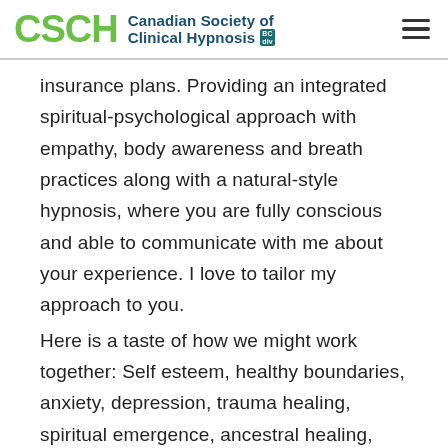CSCH Canadian Society of Clinical Hypnosis
insurance plans. Providing an integrated spiritual-psychological approach with empathy, body awareness and breath practices along with a natural-style hypnosis, where you are fully conscious and able to communicate with me about your experience. I love to tailor my approach to you.
Here is a taste of how we might work together: Self esteem, healthy boundaries, anxiety, depression, trauma healing, spiritual emergence, ancestral healing, soul